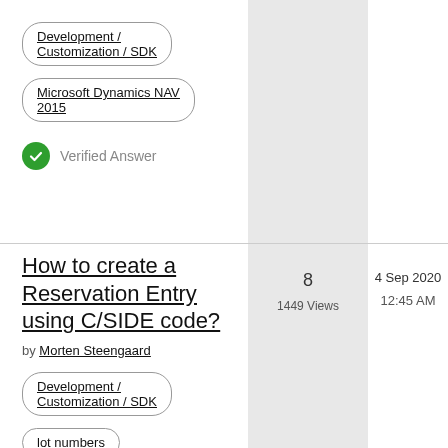Development / Customization / SDK
Microsoft Dynamics NAV 2015
Verified Answer
How to create a Reservation Entry using C/SIDE code? by Morten Steengaard
8
1449 Views
4 Sep 2020
12:45 AM
Development / Customization / SDK
lot numbers